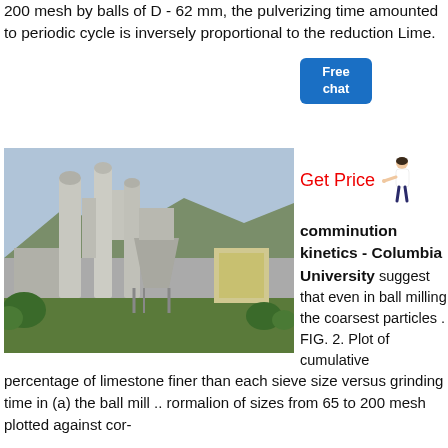200 mesh by balls of D - 62 mm, the pulverizing time amounted to periodic cycle is inversely proportional to the reduction Lime.
[Figure (photo): Industrial ball mill / grinding facility with large cylindrical towers, hoppers, and mechanical structures, surrounded by vegetation.]
Get Price
Free chat
comminution kinetics - Columbia University suggest that even in ball milling the coarsest particles . FIG. 2. Plot of cumulative percentage of limestone finer than each sieve size versus grinding time in (a) the ball mill .. rormalion of sizes from 65 to 200 mesh plotted against cor-